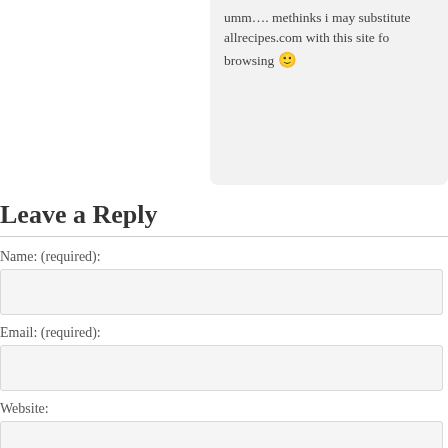umm…. methinks i may substitute allrecipes.com with this site for browsing 🙂
Leave a Reply
Name: (required):
Email: (required):
Website:
Comment: